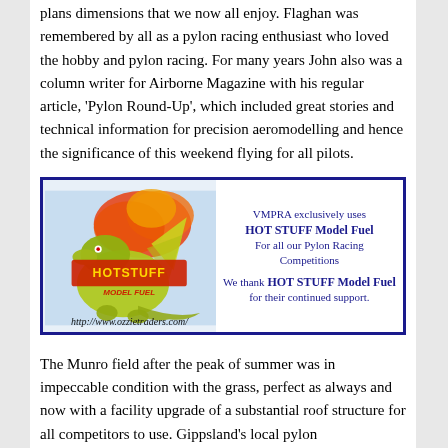plans dimensions that we now all enjoy. Flaghan was remembered by all as a pylon racing enthusiast who loved the hobby and pylon racing. For many years John also was a column writer for Airborne Magazine with his regular article, 'Pylon Round-Up', which included great stories and technical information for precision aeromodelling and hence the significance of this weekend flying for all pilots.
[Figure (infographic): Hot Stuff Model Fuel advertisement with a dragon mascot illustration. Left side shows dragon with flames and 'HOT STUFF MODEL FUEL' logo plus URL http://www.ozzietraders.com/. Right side text: VMPRA exclusively uses HOT STUFF Model Fuel For all our Pylon Racing Competitions. We thank HOT STUFF Model Fuel for their continued support.]
The Munro field after the peak of summer was in impeccable condition with the grass, perfect as always and now with a facility upgrade of a substantial roof structure for all competitors to use. Gippsland's local pylon